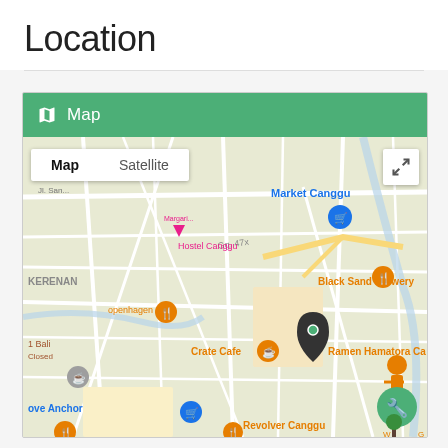Location
[Figure (map): Google Maps screenshot showing Canggu area in Bali, Indonesia. Visible landmarks include Market Canggu, Hostel Canggu, Black Sand Brewery, Crate Cafe, Ramen Hamatora Ca, Revolver Canggu, Love Anchor, Copenhagen restaurant, and a location pin marker. Map/Satellite toggle buttons visible at top left. A green wrench/settings button and street view figure visible at bottom right.]